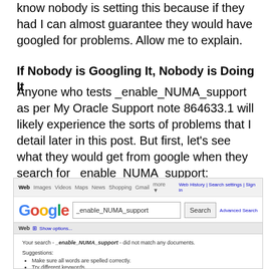know nobody is setting this because if they had I can almost guarantee they would have googled for problems. Allow me to explain.
If Nobody is Googling It, Nobody is Doing It
Anyone who tests _enable_NUMA_support as per My Oracle Support note 864633.1 will likely experience the sorts of problems that I detail later in this post. But first, let's see what they would get from google when they search for _enable_NUMA_support:
[Figure (screenshot): Google search screenshot showing a search for '_enable_NUMA_support' returning no results. The page shows 'Your search - _enable_NUMA_support - did not match any documents.' with suggestions to check spelling, try different keywords, and try more general keywords.]